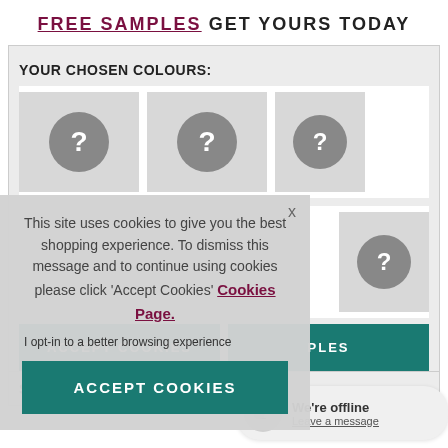FREE SAMPLES GET YOURS TODAY
YOUR CHOSEN COLOURS:
[Figure (screenshot): Grid of colour swatch placeholder boxes with grey question mark circles, indicating unselected colour samples]
[Figure (screenshot): Cookie consent overlay with text, opt-in line, and Accept Cookies button]
SHAR
[Figure (screenshot): Chat widget showing We're offline and Leave a message link]